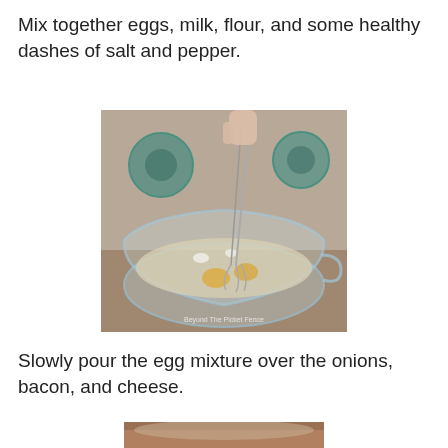Mix together eggs, milk, flour, and some healthy dashes of salt and pepper.
[Figure (photo): A hand holding a whisk stirring eggs, milk, and flour in a clear glass mixing bowl. A watermark reads 'Beyond The Picket Fence'. Weights and decorative items visible in background.]
Slowly pour the egg mixture over the onions, bacon, and cheese.
[Figure (photo): Partial view of a dish being filled with egg mixture, visible at bottom of page.]